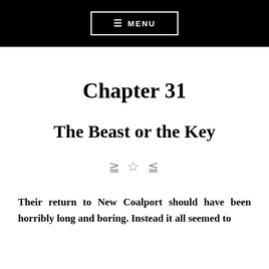≡ MENU
Chapter 31
The Beast or the Key
≥ ☆ ≤
Their return to New Coalport should have been horribly long and boring. Instead it all seemed to be over unbelievably fast. One moment they had...